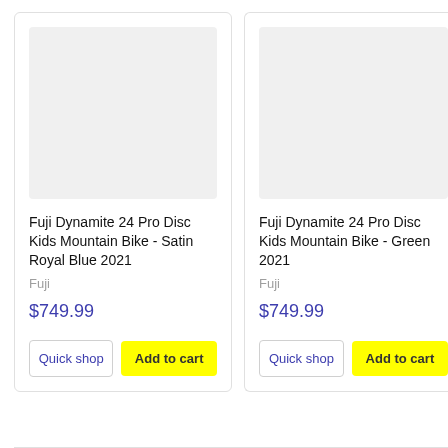[Figure (photo): Product image placeholder (light gray rectangle) for Fuji Dynamite 24 Pro Disc Kids Mountain Bike - Satin Royal Blue 2021]
Fuji Dynamite 24 Pro Disc Kids Mountain Bike - Satin Royal Blue 2021
Fuji
$749.99
Quick shop
Add to cart
[Figure (photo): Product image placeholder (light gray rectangle) for Fuji Dynamite 24 Pro Disc Kids Mountain Bike - Green 2021]
Fuji Dynamite 24 Pro Disc Kids Mountain Bike - Green 2021
Fuji
$749.99
Quick shop
Add to cart